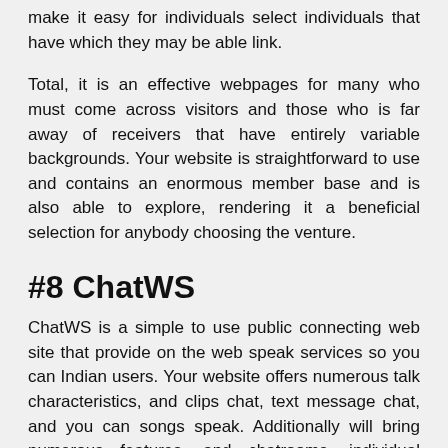make it easy for individuals select individuals that have which they may be able link.
Total, it is an effective webpages for many who must come across visitors and those who is far away of receivers that have entirely variable backgrounds. Your website is straightforward to use and contains an enormous member base and is also able to explore, rendering it a beneficial selection for anybody choosing the venture.
#8 ChatWS
ChatWS is a simple to use public connecting web site that provide on the web speak services so you can Indian users. Your website offers numerous talk characteristics, and clips chat, text message chat, and you can songs speak. Additionally will bring numerous features, and chatrooms, individual messages, and